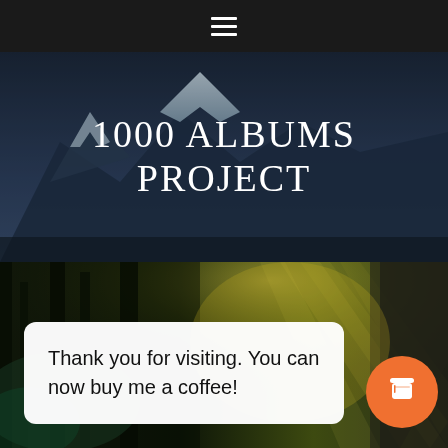☰
1000 ALBUMS PROJECT
[Figure (photo): Mountain landscape with snow-capped peaks and dark blue sky]
[Figure (photo): Forest scene with dramatic light rays streaming through dark trees with green and yellow tones]
Thank you for visiting. You can now buy me a coffee!
[Figure (illustration): Orange circular coffee cup icon button]